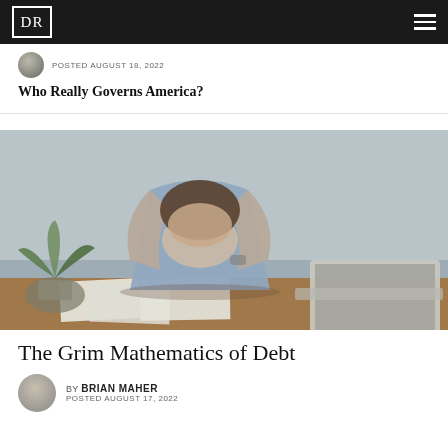DR
POSTED AUGUST 18, 2022
Who Really Governs America?
[Figure (photo): Man sitting at desk with head in hands, looking stressed, with papers, a calculator, and a laptop in front of him. A potted succulent plant is visible to the left.]
The Grim Mathematics of Debt
BY BRIAN MAHER
POSTED AUGUST 17, 2022